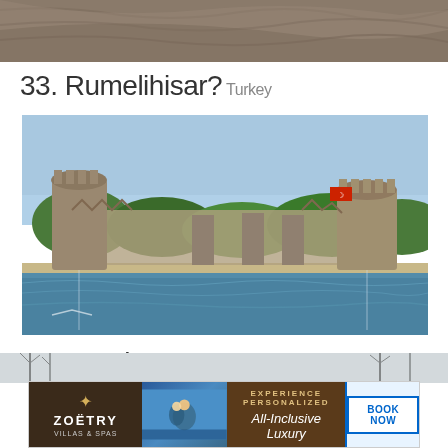[Figure (photo): Partial top image showing a rocky hillside or mountain slope, cropped at the top of the page]
33. Rumelihisar? Turkey
[Figure (photo): Photo of Rumelihisar fortress in Turkey, showing medieval castle towers and walls along the Bosphorus waterway, with green trees and blue sky]
34. Kamianets Ukraine
[Figure (other): Advertisement banner for Zoetry Villas & Spas. Left panel: dark brown background with Zoetry logo and star. Middle panel: brown background with text 'EXPERIENCE PERSONALIZED All-Inclusive Luxury'. Right panel: light blue background with 'BOOK NOW' button. Below is a partial winter landscape photo.]